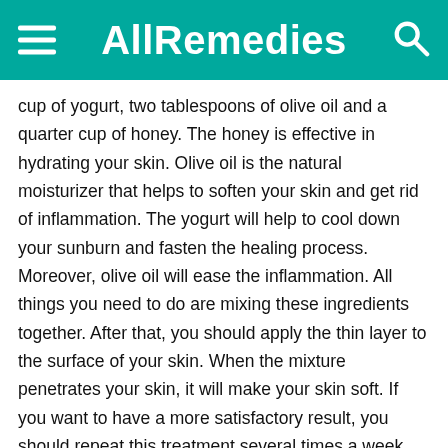AllRemedies
cup of yogurt, two tablespoons of olive oil and a quarter cup of honey. The honey is effective in hydrating your skin. Olive oil is the natural moisturizer that helps to soften your skin and get rid of inflammation. The yogurt will help to cool down your sunburn and fasten the healing process. Moreover, olive oil will ease the inflammation. All things you need to do are mixing these ingredients together. After that, you should apply the thin layer to the surface of your skin. When the mixture penetrates your skin, it will make your skin soft. If you want to have a more satisfactory result, you should repeat this treatment several times a week.
These are 15 best uses of olive oil for skin care face& body that we would like to introduce to you on AllRemedies. We hope that you will find this article effective and helpful. If you have any questions to ask, please raise your voice by leaving your comments bellow. We will answer as soon as we can.